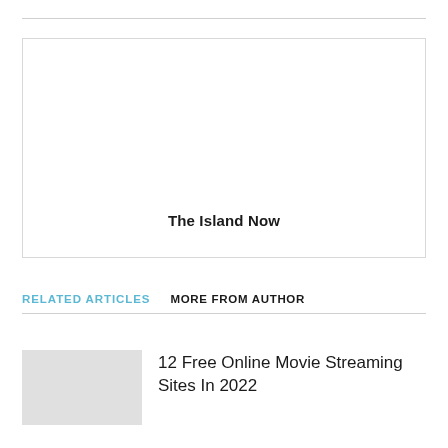[Figure (other): Advertisement placeholder box with centered text 'The Island Now']
RELATED ARTICLES    MORE FROM AUTHOR
12 Free Online Movie Streaming Sites In 2022